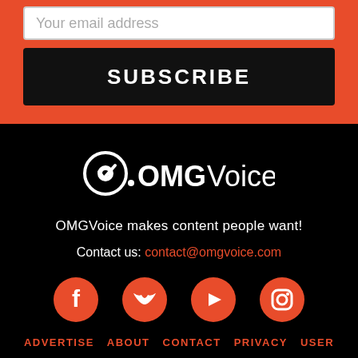Your email address
SUBSCRIBE
[Figure (logo): OMGVoice logo with eye/target icon and stylized text]
OMGVoice makes content people want!
Contact us: contact@omgvoice.com
[Figure (illustration): Social media icons: Facebook, Twitter, YouTube, Instagram in orange circles]
ADVERTISE   ABOUT   CONTACT   PRIVACY   USER AGREEMENT